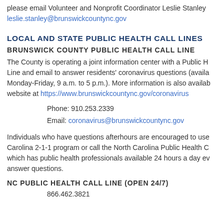please email Volunteer and Nonprofit Coordinator Leslie Stanley leslie.stanley@brunswickcountync.gov
LOCAL AND STATE PUBLIC HEALTH CALL LINES
BRUNSWICK COUNTY PUBLIC HEALTH CALL LINE
The County is operating a joint information center with a Public Health Call Line and email to answer residents' coronavirus questions (available Monday-Friday, 9 a.m. to 5 p.m.). More information is also available on the website at https://www.brunswickcountync.gov/coronavirus
Phone: 910.253.2339
Email: coronavirus@brunswickcountync.gov
Individuals who have questions afterhours are encouraged to use the North Carolina 2-1-1 program or call the North Carolina Public Health Call Line, which has public health professionals available 24 hours a day every day to answer questions.
NC PUBLIC HEALTH CALL LINE (OPEN 24/7)
866.462.3821